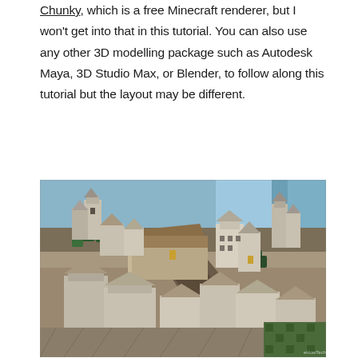Chunky, which is a free Minecraft renderer, but I won't get into that in this tutorial. You can also use any other 3D modelling package such as Autodesk Maya, 3D Studio Max, or Blender, to follow along this tutorial but the layout may be different.
[Figure (photo): Aerial rendered view of a detailed Minecraft medieval city scene showing buildings, towers, trees, and a body of water in the background. The rendering appears photorealistic with lighting and shadows.]